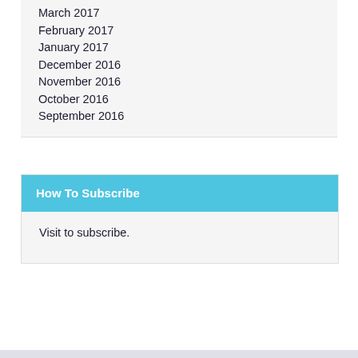March 2017
February 2017
January 2017
December 2016
November 2016
October 2016
September 2016
How To Subscribe
Visit to subscribe.